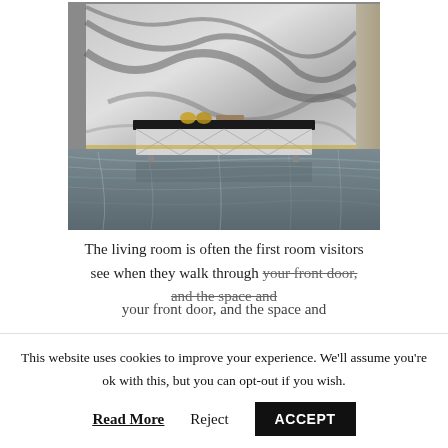[Figure (photo): Interior room photo showing a luxury living room with a large grey and black marble wall panel behind a low white sideboard/TV unit with gold accents and decorative items on top. The floor is dark grey marble with white streaks.]
The living room is often the first room visitors see when they walk through your front door, and the space and
This website uses cookies to improve your experience. We'll assume you're ok with this, but you can opt-out if you wish.
Read More   Reject   ACCEPT